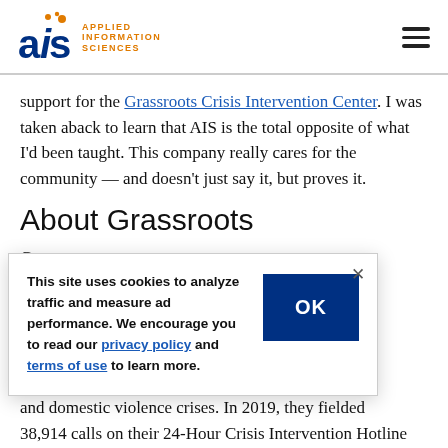AIS Applied Information Sciences
support for the Grassroots Crisis Intervention Center. I was taken aback to learn that AIS is the total opposite of what I'd been taught. This company really cares for the community — and doesn't just say it, but proves it.
About Grassroots
This site uses cookies to analyze traffic and measure ad performance. We encourage you to read our privacy policy and terms of use to learn more.
and domestic violence crises. In 2019, they fielded 38,914 calls on their 24-Hour Crisis Intervention Hotline